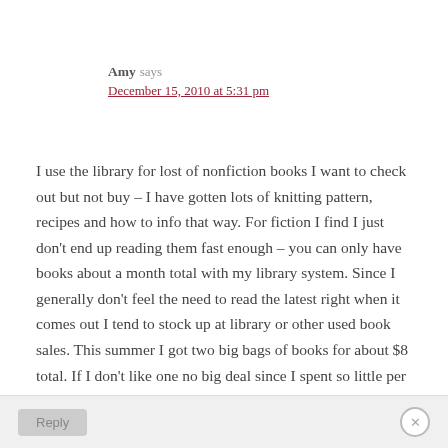Amy says
December 15, 2010 at 5:31 pm
I use the library for lost of nonfiction books I want to check out but not buy – I have gotten lots of knitting pattern, recipes and how to info that way. For fiction I find I just don't end up reading them fast enough – you can only have books about a month total with my library system. Since I generally don't feel the need to read the latest right when it comes out I tend to stock up at library or other used book sales. This summer I got two big bags of books for about $8 total. If I don't like one no big deal since I spent so little per book and I have a selection to choose my next book from. If there is a book I really want I know I will keep I tried used book stores first and have also had some great luck, with half.com.
Reply